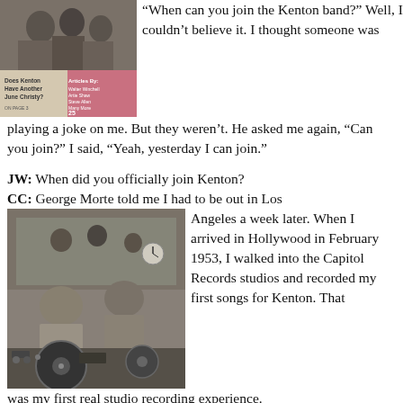[Figure (photo): Black and white photo of a magazine cover featuring 'Does Kenton Have Another June Christy?' with 'Articles By: Walter Winchell, Artie Shaw, Steve Allen, Many More' and '25 cents' visible]
“When can you join the Kenton band?” Well, I couldn’t believe it. I thought someone was playing a joke on me. But they weren’t. He asked me again, “Can you join?” I said, “Yeah, yesterday I can join.”
JW: When did you officially join Kenton?
CC: George Morte told me I had to be out in Los Angeles a week later.
[Figure (photo): Black and white photo of people in a recording studio, two men seated at a desk with turntables and equipment, musicians visible in background through glass]
When I arrived in Hollywood in February 1953, I walked into the Capitol Records studios and recorded my first songs for Kenton. That was my first real studio recording experience.